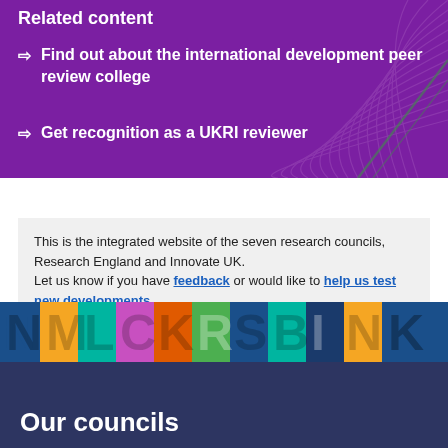Related content
Find out about the international development peer review college
Get recognition as a UKRI reviewer
This is the integrated website of the seven research councils, Research England and Innovate UK. Let us know if you have feedback or would like to help us test new developments.
[Figure (logo): UKRI multicolour logo bar with letters N, M, L, C, K, R, S, B, I, N, K in various colours]
Our councils